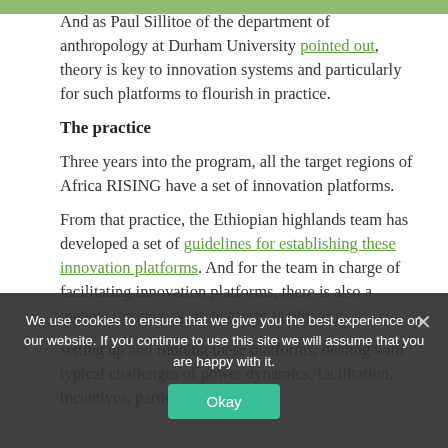And as Paul Sillitoe of the department of anthropology at Durham University pointed out, theory is key to innovation systems and particularly for such platforms to flourish in practice.
The practice
Three years into the program, all the target regions of Africa RISING have a set of innovation platforms.
From that practice, the Ethiopian highlands team has developed a set of guidelines for establishing these innovation platforms. And for the team in charge of facilitating innovation platforms, there is also a manual for innovation platform facilitation...
setting up and running these platforms, dealing with typical challenges of power dynamics, facilitation, incentives, participant
We use cookies to ensure that we give you the best experience on our website. If you continue to use this site we will assume that you are happy with it.